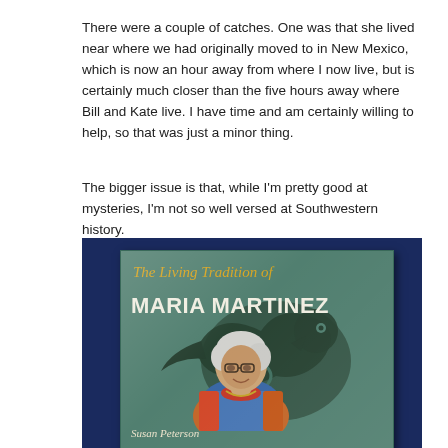There were a couple of catches. One was that she lived near where we had originally moved to in New Mexico, which is now an hour away from where I now live, but is certainly much closer than the five hours away where Bill and Kate live. I have time and am certainly willing to help, so that was just a minor thing.
The bigger issue is that, while I'm pretty good at mysteries, I'm not so well versed at Southwestern history.
[Figure (photo): Photograph of a book titled 'The Living Tradition of Maria Martinez' by Susan Peterson, showing the book cover with a teal/green background, decorative bird motif, and a photo of an elderly woman with white hair and glasses wearing colorful clothing. The book is displayed against a dark blue background.]